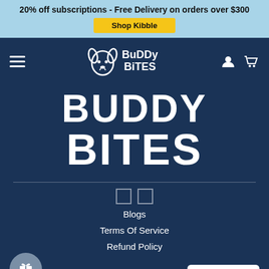20% off subscriptions - Free Delivery on orders over $300
Shop Kibble
[Figure (logo): Buddy Bites dog food brand logo with cartoon dog face and text 'Buddy Bites' in white on dark blue navy navbar]
[Figure (logo): Large Buddy Bites text logo in bold white letters on dark navy background, oversized display]
Blogs
Terms Of Service
Refund Policy